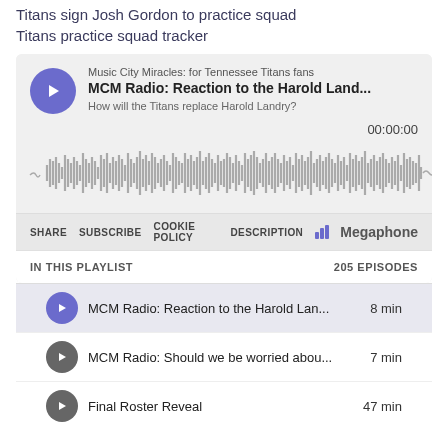Titans sign Josh Gordon to practice squad
Titans practice squad tracker
[Figure (screenshot): Podcast player widget for Music City Miracles: MCM Radio: Reaction to the Harold Land... with waveform and controls. Shows time 00:00:00, buttons for SHARE, SUBSCRIBE, COOKIE POLICY, DESCRIPTION, and Megaphone branding.]
IN THIS PLAYLIST   205 EPISODES
MCM Radio: Reaction to the Harold Lan...   8 min
MCM Radio: Should we be worried abou...   7 min
Final Roster Reveal   47 min